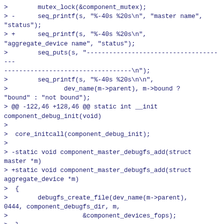> 		mutex_lock(&component_mutex);
> - 		seq_printf(s, "%-40s %20s\n", "master name",
"status");
> + 		seq_printf(s, "%-40s %20s\n",
"aggregate_device name", "status");
> 		seq_puts(s, "--------------------------------------
----------------------------------\n");
> 		seq_printf(s, "%-40s %20s\n\n",
> 				dev_name(m->parent), m->bound ?
"bound" : "not bound");
> @@ -122,46 +128,46 @@ static int __init component_debug_init(void)
>
>  core_initcall(component_debug_init);
>
> -static void component_master_debugfs_add(struct master *m)
> +static void component_master_debugfs_add(struct aggregate_device *m)
>  {
> 		debugfs_create_file(dev_name(m->parent),
0444, component_debugfs_dir, m,
> 					&component_devices_fops);
>  }
>
> -static void component_master_debugfs_del(struct master *m)
> +static void component_master_debugfs_del(struct aggregate_device *m)
> {{